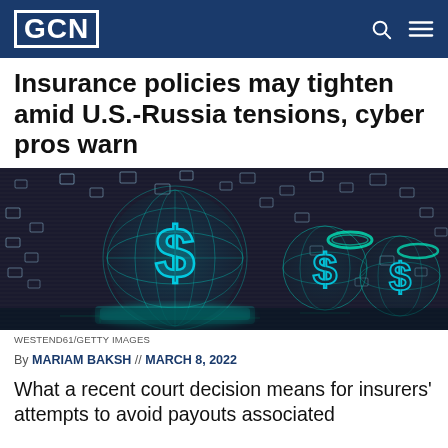GCN
Insurance policies may tighten amid U.S.-Russia tensions, cyber pros warn
[Figure (photo): Digital globe with dollar sign symbols made of glowing teal wireframe mesh, surrounded by floating holographic squares on a dark circuit board background, representing cyber finance and digital currency.]
WESTEND61/GETTY IMAGES
By MARIAM BAKSH // MARCH 8, 2022
What a recent court decision means for insurers' attempts to avoid payouts associated